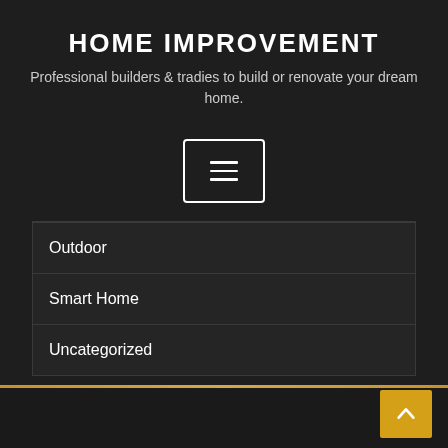HOME IMPROVEMENT
Professional builders & tradies to build or renovate your dream home.
[Figure (other): Hamburger menu button icon with three horizontal lines inside a rectangular border]
Outdoor
Smart Home
Uncategorized
[Figure (other): Back to top arrow button in gold/yellow color at bottom right corner]